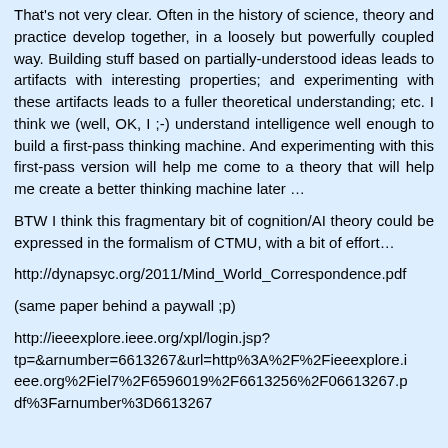That's not very clear. Often in the history of science, theory and practice develop together, in a loosely but powerfully coupled way. Building stuff based on partially-understood ideas leads to artifacts with interesting properties; and experimenting with these artifacts leads to a fuller theoretical understanding; etc. I think we (well, OK, I ;-) understand intelligence well enough to build a first-pass thinking machine. And experimenting with this first-pass version will help me come to a theory that will help me create a better thinking machine later …
BTW I think this fragmentary bit of cognition/AI theory could be expressed in the formalism of CTMU, with a bit of effort…
http://dynapsyc.org/2011/Mind_World_Correspondence.pdf
(same paper behind a paywall ;p)
http://ieeexplore.ieee.org/xpl/login.jsp?tp=&arnumber=6613267&url=http%3A%2F%2Fieeexplore.ieee.org%2Fiel7%2F6596019%2F6613256%2F06613267.pdf%3Farnumber%3D6613267